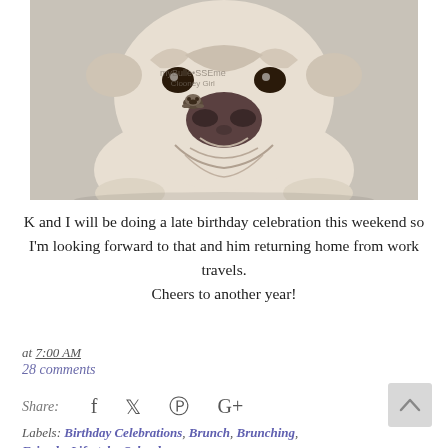[Figure (photo): Close-up photo of an English bulldog puppy looking at the camera, with wrinkled face, on a light background. Watermark reads 'myBulldogisme' with a small bulldog illustration.]
K and I will be doing a late birthday celebration this weekend so I'm looking forward to that and him returning home from work travels.

Cheers to another year!
at 7:00 AM
28 comments
Share:
Labels: Birthday Celebrations, Brunch, Brunching, Friends, Lifestyle, Orlando